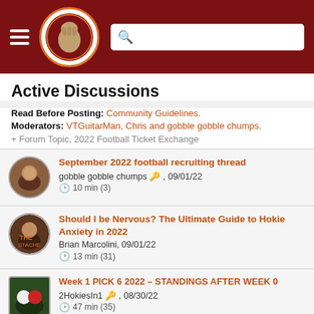The Key Play - site header with hamburger menu, logo, and search bar
Active Discussions
Read Before Posting: Community Guidelines.
Moderators: VTGuitarMan, Chris and gobble gobble chumps.
+ Forum Topic, 2022 Football Ticket Exchange
September 2022 football recruiting thread
gobble gobble chumps 🔑 , 09/01/22
⏱ 10 min (3)
Should I be Nervous? The Ultimate Guide to Hokie Anxiety in 2022
Brian Marcolini, 09/01/22
⏱ 13 min (31)
Week 1 PICK 6 2022 – STANDINGS AFTER WEEK 0
2HokiesIn1 🔑 , 08/30/22
⏱ 47 min (35)
Week 1 Betting Lines and Odds